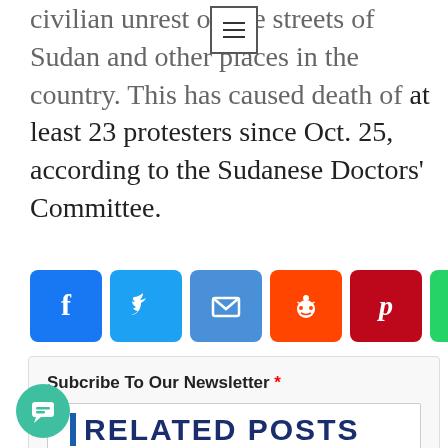civilian unrest on the streets of Sudan and other places in the country. This has caused death of at least 23 protesters since Oct. 25, according to the Sudanese Doctors' Committee.
[Figure (infographic): Row of social media sharing buttons: Facebook, Twitter, Email, Reddit, Pinterest, WhatsApp, Messenger, and a plus/share button]
Subcribe To Our Newsletter *
[Figure (screenshot): Newsletter subscription form with text input field and Submit button]
[Figure (infographic): Chat bubble icon button (teal circle with message icon)]
RELATED POSTS